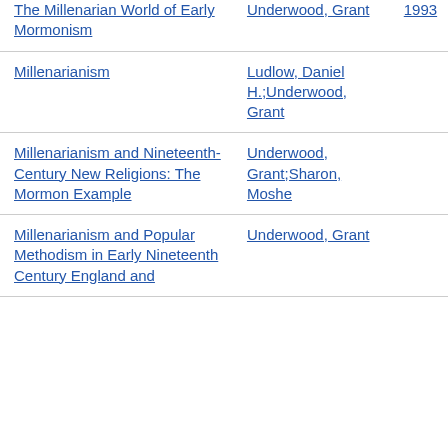| Title | Author | Year |
| --- | --- | --- |
| The Millenarian World of Early Mormonism | Underwood, Grant | 1993 |
| Millenarianism | Ludlow, Daniel H.;Underwood, Grant |  |
| Millenarianism and Nineteenth-Century New Religions: The Mormon Example | Underwood, Grant;Sharon, Moshe |  |
| Millenarianism and Popular Methodism in Early Nineteenth Century England and | Underwood, Grant |  |